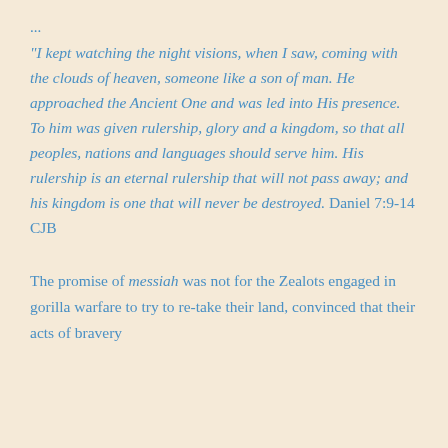...
“I kept watching the night visions, when I saw, coming with the clouds of heaven, someone like a son of man. He approached the Ancient One and was led into His presence.  To him was given rulership, glory and a kingdom, so that all peoples, nations and languages should serve him. His rulership is an eternal rulership that will not pass away; and his kingdom is one that will never be destroyed. Daniel 7:9‑14 CJB
The promise of messiah was not for the Zealots engaged in gorilla warfare to try to re-take their land, convinced that their acts of bravery